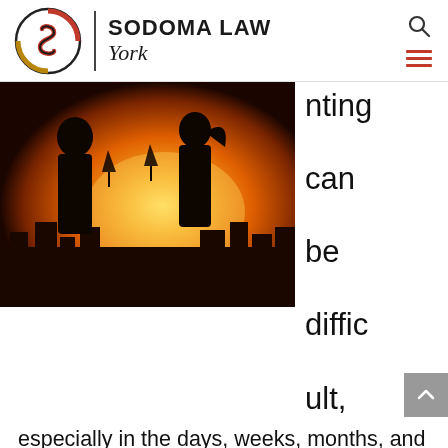[Figure (logo): Sodoma Law York logo with stylized S in circular emblem, vertical divider, firm name 'SODOMA LAW' in bold caps and 'York' in italic script]
[Figure (photo): Silhouette of a couple toasting with wine glasses at sunset with orange sky and city skyline in background]
nting can be difficult, especially in the days, weeks, months, and even years immediately following a separation and divorce. For most parents, you may have to relearn what sharing the parenting responsibilities looks like and adjust to the way the other parent is implementing those duties now that you are in two separate households.